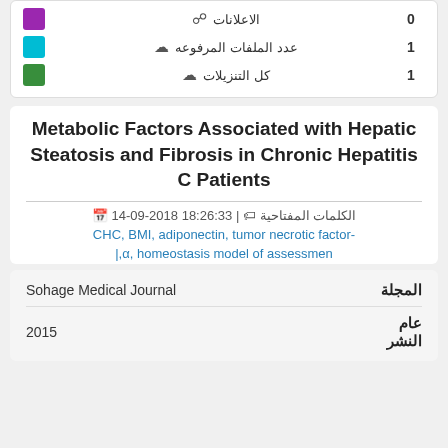الاعلانات 0
عدد الملفات المرفوعه 1
كل التنزيلات 1
Metabolic Factors Associated with Hepatic Steatosis and Fibrosis in Chronic Hepatitis C Patients
2018-09-14 18:26:33 | الكلمات المفتاحية
CHC, BMI, adiponectin, tumor necrotic factor-α, homeostasis model of assessmen |,
| المجلة | Value |
| --- | --- |
| المجلة | Sohage Medical Journal |
| عام النشر | 2015 |